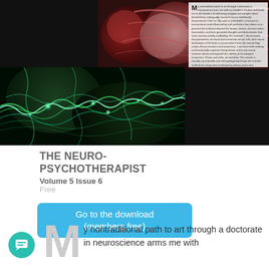[Figure (photo): Composite image: top right shows colorful anatomical brain/muscle tissue scan in red, brown, and pink tones with a white text overlay column; bottom left shows a dark neural/fractal visualization with glowing green and teal lines on black background, resembling neural pathways or dendrites.]
THE NEURO-PSYCHOTHERAPIST Volume 5 Issue 6
Free
Go to the download (members free)
y nontraditional path to art through a doctorate in neuroscience arms me with